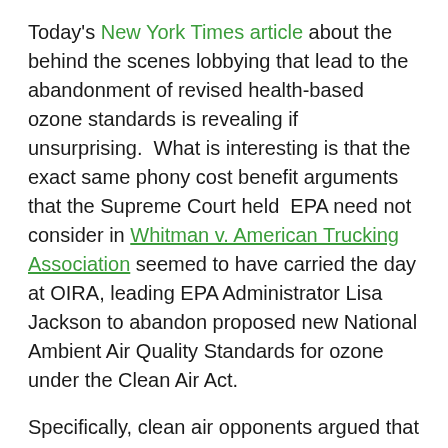Today's New York Times article about the behind the scenes lobbying that lead to the abandonment of revised health-based ozone standards is revealing if unsurprising.  What is interesting is that the exact same phony cost benefit arguments that the Supreme Court held  EPA need not consider in Whitman v. American Trucking Association seemed to have carried the day at OIRA, leading EPA Administrator Lisa Jackson to abandon proposed new National Ambient Air Quality Standards for ozone under the Clean Air Act.
Specifically, clean air opponents argued that economic costs associated with compliance would increase unemployment, and that unemployment is worse for public health than smog.  Clean Air Act section 109(b)(1) requies EPA to establish the NAAQS at a levels that